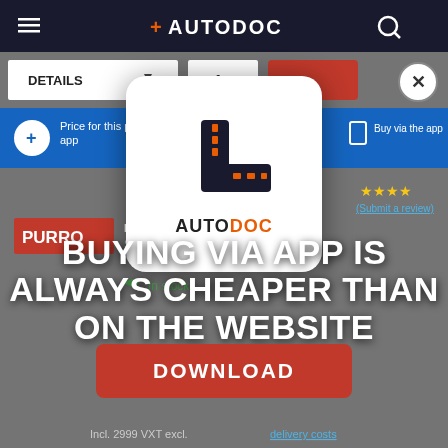[Figure (screenshot): Autodoc website screenshot showing a product page for PURRO PUR-PO3014 Oil Filter with navigation bar, details/quantity controls, blue promo bar, star ratings, product info, and in-stock status.]
[Figure (logo): Autodoc app logo: white rounded square card with orange/dark road-turn icon and AUTODOC text below]
BUYING VIA APP IS ALWAYS CHEAPER THAN ON THE WEBSITE
DOWNLOAD